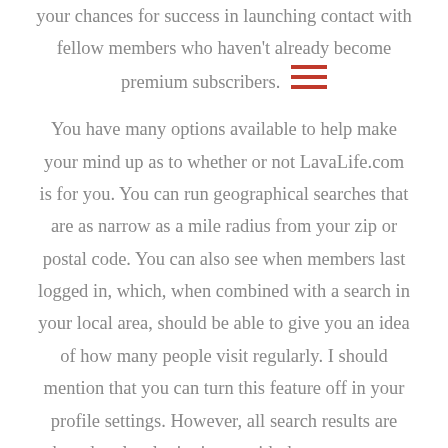your chances for success in launching contact with fellow members who haven't already become premium subscribers.
You have many options available to help make your mind up as to whether or not LavaLife.com is for you. You can run geographical searches that are as narrow as a mile radius from your zip or postal code. You can also see when members last logged in, which, when combined with a search in your local area, should be able to give you an idea of how many people visit regularly. I should mention that you can turn this feature off in your profile settings. However, all search results are based on last login times, with the most recent visitors showing up first.
Some people surfing our site have left feedback that